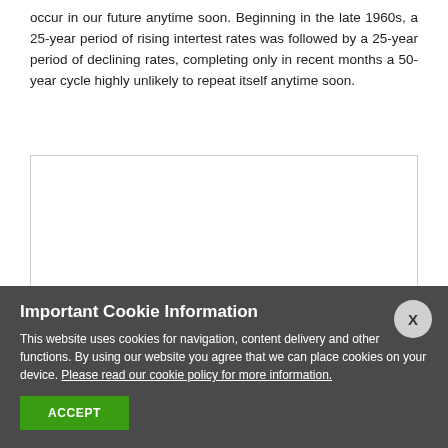occur in our future anytime soon. Beginning in the late 1960s, a 25-year period of rising intertest rates was followed by a 25-year period of declining rates, completing only in recent months a 50-year cycle highly unlikely to repeat itself anytime soon.
[Figure (other): Empty white chart or figure box with a thin border, content not visible due to cookie overlay.]
Important Cookie Information
This website uses cookies for navigation, content delivery and other functions. By using our website you agree that we can place cookies on your device. Please read our cookie policy for more information.
ACCEPT